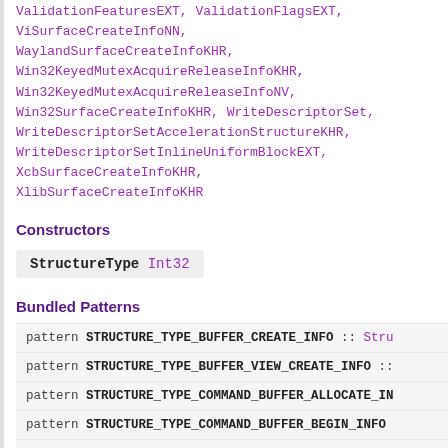ValidationFeaturesEXT, ValidationFlagsEXT, ViSurfaceCreateInfoNN, WaylandSurfaceCreateInfoKHR, Win32KeyedMutexAcquireReleaseInfoKHR, Win32KeyedMutexAcquireReleaseInfoNV, Win32SurfaceCreateInfoKHR, WriteDescriptorSet, WriteDescriptorSetAccelerationStructureKHR, WriteDescriptorSetInlineUniformBlockEXT, XcbSurfaceCreateInfoKHR, XlibSurfaceCreateInfoKHR
Constructors
StructureType Int32
Bundled Patterns
pattern STRUCTURE_TYPE_BUFFER_CREATE_INFO :: Stru
pattern STRUCTURE_TYPE_BUFFER_VIEW_CREATE_INFO ::
pattern STRUCTURE_TYPE_COMMAND_BUFFER_ALLOCATE_IN
pattern STRUCTURE_TYPE_COMMAND_BUFFER_BEGIN_INFO
pattern STRUCTURE_TYPE_COMMAND_BUFFER_INHERITANCE